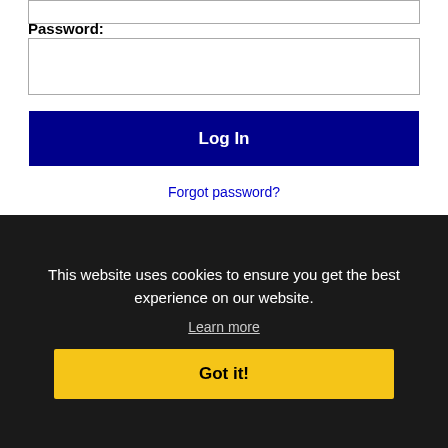Password:
[Figure (screenshot): Password input field (empty text box)]
Log In
Forgot password?
[Figure (logo): Facebook icon, LinkedIn logo, Twitter icon]
Get the best experience by following @rechetMI on
Royal CSR RSS job feeds
This website uses cookies to ensure you get the best experience on our website.
Learn more
Got it!